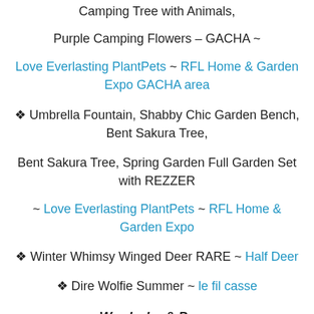Camping Tree with Animals,
Purple Camping Flowers – GACHA ~
Love Everlasting PlantPets ~ RFL Home & Garden Expo GACHA area
❖ Umbrella Fountain, Shabby Chic Garden Bench, Bent Sakura Tree,
Bent Sakura Tree, Spring Garden Full Garden Set with REZZER
~ Love Everlasting PlantPets ~ RFL Home & Garden Expo
❖ Winter Whimsy Winged Deer RARE ~ Half Deer
❖ Dire Wolfie Summer ~ le fil casse
Wardrobe & Pose: